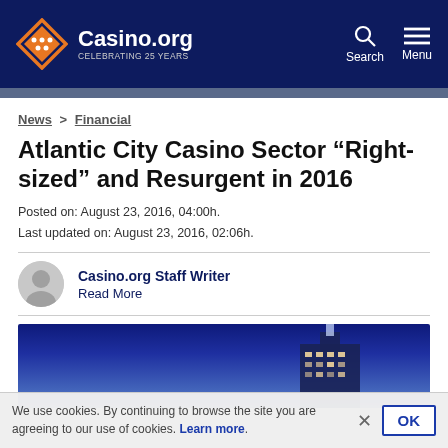Casino.org — CELEBRATING 25 YEARS
News > Financial
Atlantic City Casino Sector “Right-sized” and Resurgent in 2016
Posted on: August 23, 2016, 04:00h.
Last updated on: August 23, 2016, 02:06h.
Casino.org Staff Writer
Read More
[Figure (photo): Night-time photo of an Atlantic City casino building with blue sky]
We use cookies. By continuing to browse the site you are agreeing to our use of cookies. Learn more.